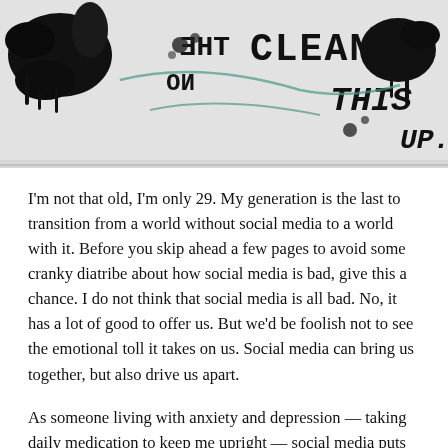[Figure (photo): Black and white graffiti/ink splatter artwork with text that appears to read 'THE NO CLEAN THIS UP' with chaotic ink splashes and drips]
I'm not that old, I'm only 29. My generation is the last to transition from a world without social media to a world with it. Before you skip ahead a few pages to avoid some cranky diatribe about how social media is bad, give this a chance. I do not think that social media is all bad. No, it has a lot of good to offer us. But we'd be foolish not to see the emotional toll it takes on us. Social media can bring us together, but also drive us apart.
As someone living with anxiety and depression — taking daily medication to keep me upright — social media puts me on high alert. While the various